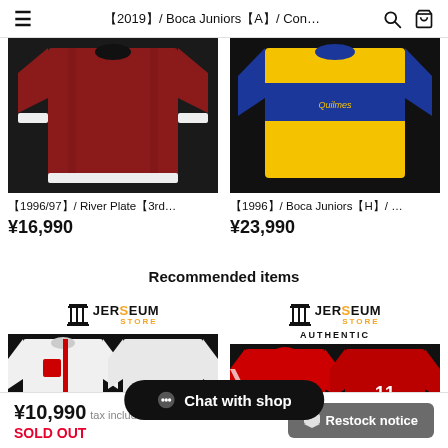【2019】/ Boca Juniors【A】/ Con…
[Figure (photo): Dark red/maroon long-sleeve football jersey on black background - River Plate 3rd kit]
【1996/97】/ River Plate【3rd…
¥16,990
[Figure (photo): Blue and yellow Boca Juniors jersey with MARADONA #10 on black background]
【1996】/ Boca Juniors【H】/ …
¥23,990
Recommended items
[Figure (logo): Jerseum Store logo - left card]
[Figure (photo): White England long-sleeve jersey on black background]
[Figure (logo): Jerseum Store Authentic logo - right card]
[Figure (photo): Red Manchester United jersey with GREENWOOD 11 on black background]
Chat with shop
¥10,990 tax included
SOLD OUT
Restock notice